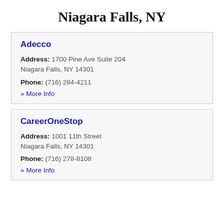Niagara Falls, NY
Adecco
Address: 1700 Pine Ave Suite 204
Niagara Falls, NY 14301
Phone: (716) 284-4211
» More Info
CareerOneStop
Address: 1001 11th Street
Niagara Falls, NY 14301
Phone: (716) 278-8108
» More Info